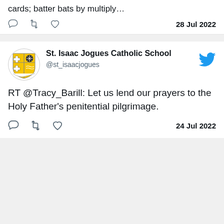cards; batter bats by multiply…
28 Jul 2022
St. Isaac Jogues Catholic School
@st_isaacjogues
RT @Tracy_Barill: Let us lend our prayers to the Holy Father's penitential pilgrimage.
24 Jul 2022